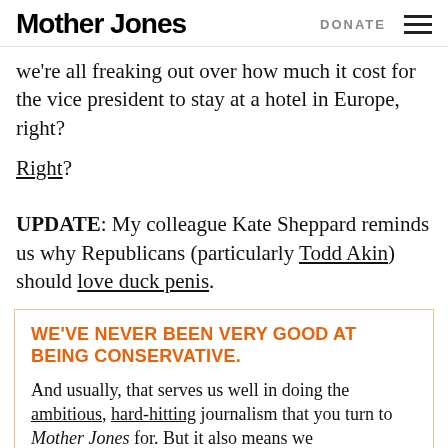Mother Jones   DONATE
we're all freaking out over how much it cost for the vice president to stay at a hotel in Europe, right?
Right?
UPDATE: My colleague Kate Sheppard reminds us why Republicans (particularly Todd Akin) should love duck penis.
WE'VE NEVER BEEN VERY GOOD AT BEING CONSERVATIVE.
And usually, that serves us well in doing the ambitious, hard-hitting journalism that you turn to Mother Jones for. But it also means we